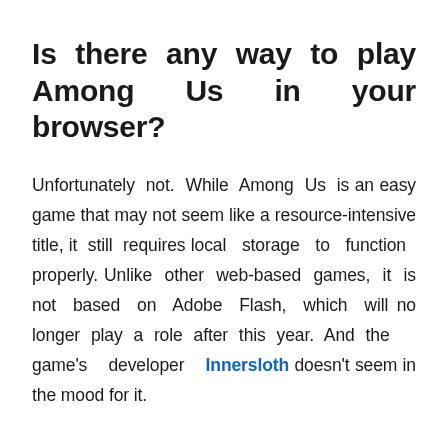Is there any way to play Among Us in your browser?
Unfortunately not. While Among Us is an easy game that may not seem like a resource-intensive title, it still requires local storage to function properly. Unlike other web-based games, it is not based on Adobe Flash, which will no longer play a role after this year. And the game's developer Innersloth doesn't seem in the mood for it.